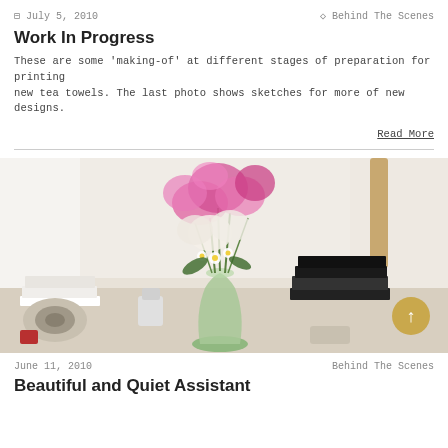July 5, 2010    Behind The Scenes
Work In Progress
These are some 'making-of' at different stages of preparation for printing new tea towels. The last photo shows sketches for more of new designs.
Read More
[Figure (photo): A desk with a glass vase of pink and white wildflowers, surrounded by books, a camera, and various items in a bright workspace.]
June 11, 2010    Behind The Scenes
Beautiful and Quiet Assistant